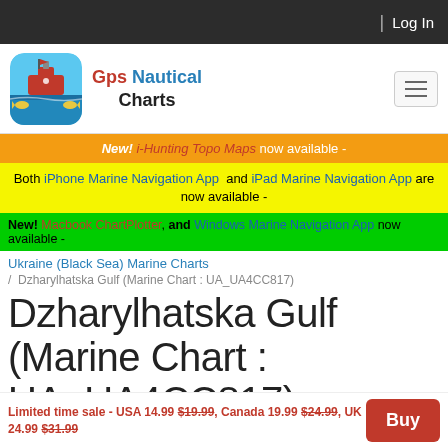Log In
[Figure (logo): GPS Nautical Charts app icon with ship and fish]
Gps Nautical Charts
New! i-Hunting Topo Maps now available -
Both iPhone Marine Navigation App and iPad Marine Navigation App are now available -
New! Macbook ChartPlotter, and Windows Marine Navigation App now available -
Ukraine (Black Sea) Marine Charts
/ Dzharylhatska Gulf (Marine Chart : UA_UA4CC817)
Dzharylhatska Gulf (Marine Chart : UA_UA4CC817)
Limited time sale - USA 14.99 $19.99, Canada 19.99 $24.99, UK 24.99 $31.99